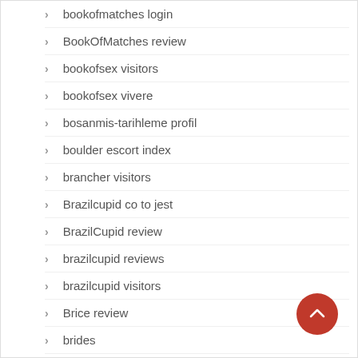bookofmatches login
BookOfMatches review
bookofsex visitors
bookofsex vivere
bosanmis-tarihleme profil
boulder escort index
brancher visitors
Brazilcupid co to jest
BrazilCupid review
brazilcupid reviews
brazilcupid visitors
Brice review
brides
bridgeport escort sites
brilic login